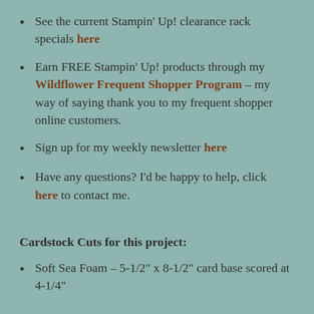See the current Stampin' Up! clearance rack specials here
Earn FREE Stampin' Up! products through my Wildflower Frequent Shopper Program – my way of saying thank you to my frequent shopper online customers.
Sign up for my weekly newsletter here
Have any questions? I'd be happy to help, click here to contact me.
Cardstock Cuts for this project:
Soft Sea Foam – 5-1/2" x 8-1/2" card base scored at 4-1/4"